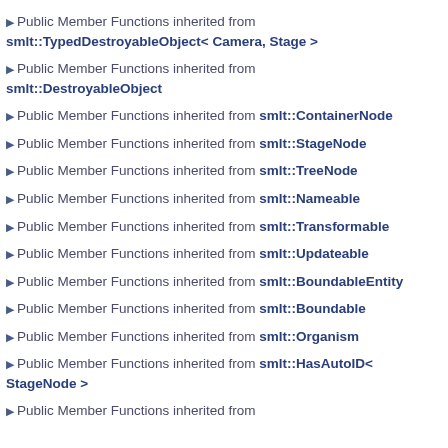▶ Public Member Functions inherited from smlt::TypedDestroyableObject< Camera, Stage >
▶ Public Member Functions inherited from smlt::DestroyableObject
▶ Public Member Functions inherited from smlt::ContainerNode
▶ Public Member Functions inherited from smlt::StageNode
▶ Public Member Functions inherited from smlt::TreeNode
▶ Public Member Functions inherited from smlt::Nameable
▶ Public Member Functions inherited from smlt::Transformable
▶ Public Member Functions inherited from smlt::Updateable
▶ Public Member Functions inherited from smlt::BoundableEntity
▶ Public Member Functions inherited from smlt::Boundable
▶ Public Member Functions inherited from smlt::Organism
▶ Public Member Functions inherited from smlt::HasAutoID< StageNode >
▶ Public Member Functions inherited from